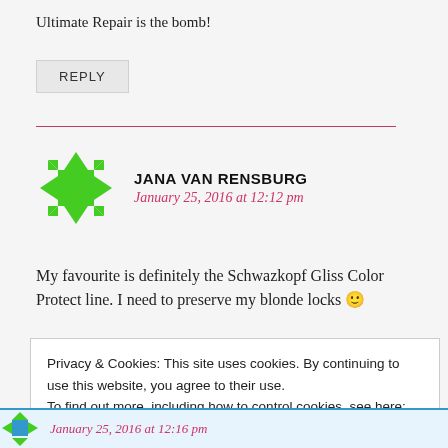Ultimate Repair is the bomb!
REPLY
JANA VAN RENSBURG
January 25, 2016 at 12:12 pm
My favourite is definitely the Schwazkopf Gliss Color Protect line. I need to preserve my blonde locks 🙂
Privacy & Cookies: This site uses cookies. By continuing to use this website, you agree to their use.
To find out more, including how to control cookies, see here: Cookie Policy
Close and accept
January 25, 2016 at 12:16 pm